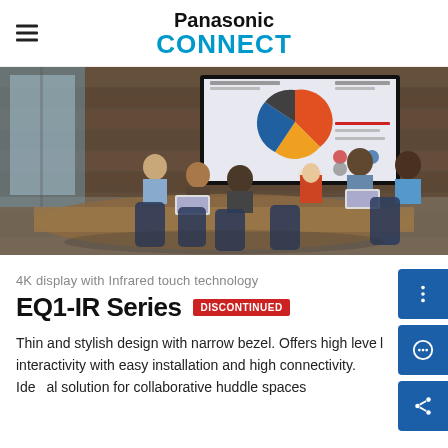Panasonic CONNECT
[Figure (photo): Business meeting room with people seated around a table, one person standing presenting data on a large display screen showing charts and graphs on the wall]
4K display with Infrared touch technology
EQ1-IR Series DISCONTINUED
Thin and stylish design with narrow bezel. Offers high level interactivity with easy installation and high connectivity. Ideal solution for collaborative huddle spaces